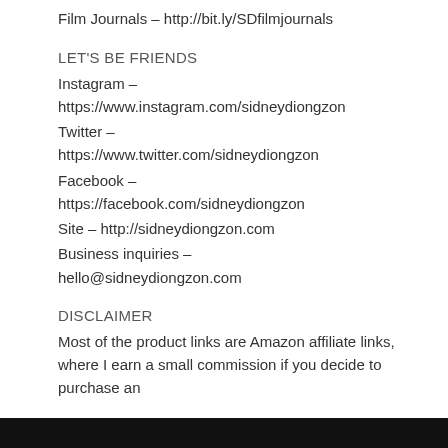Film Journals – http://bit.ly/SDfilmjournals
LET'S BE FRIENDS
Instagram – https://www.instagram.com/sidneydiongzon
Twitter – https://www.twitter.com/sidneydiongzon
Facebook – https://facebook.com/sidneydiongzon
Site – http://sidneydiongzon.com
Business inquiries – hello@sidneydiongzon.com
DISCLAIMER
Most of the product links are Amazon affiliate links, where I earn a small commission if you decide to purchase an